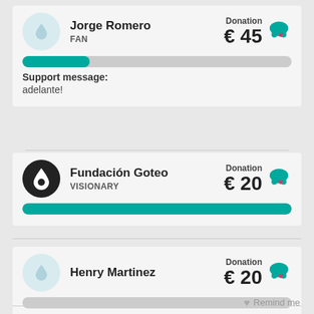Jorge Romero — FAN — Donation € 45
[Figure (infographic): Progress bar partially filled teal on gray background, approximately 25% full]
Support message: adelante!
Fundación Goteo — VISIONARY — Donation € 20
[Figure (infographic): Progress bar fully filled teal]
Henry Martinez — Donation € 20
[Figure (infographic): Progress bar empty gray]
Remind me